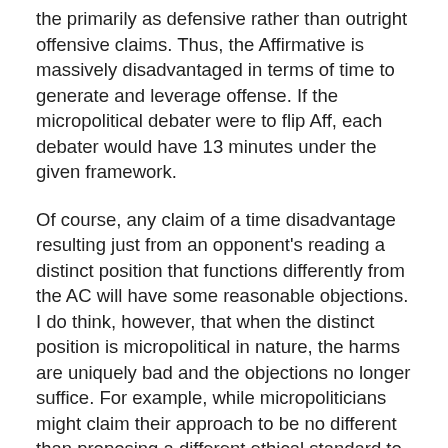the primarily as defensive rather than outright offensive claims. Thus, the Affirmative is massively disadvantaged in terms of time to generate and leverage offense. If the micropolitical debater were to flip Aff, each debater would have 13 minutes under the given framework.
Of course, any claim of a time disadvantage resulting just from an opponent's reading a distinct position that functions differently from the AC will have some reasonable objections. I do think, however, that when the distinct position is micropolitical in nature, the harms are uniquely bad and the objections no longer suffice. For example, while micropoliticians might claim their approach to be no different than proposing a different ethical standard to preclude AC offense, I see a number of differences that make their actions theoretically worse. Debaters can at least attempt to link their offense into their opponent's ethical framework when only a separate standard is presented—linking a utilitarian nuclear war scenario into a deontological NC about contracts by analyzing the government's contractual obligations to its citizens, for example. I see no such recourse under micropolitics because it entirely reconceives of not just what counts as offense, but also what is even debated: there is no linking in a claim that the juvenile justice system denies the right to jury trials into a frameworking calling for increased African-American participation in debate, because the juvenile justice system is not discussed or embraced as an